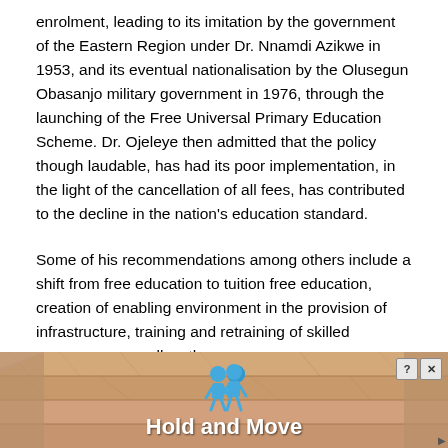enrolment, leading to its imitation by the government of the Eastern Region under Dr. Nnamdi Azikwe in 1953, and its eventual nationalisation by the Olusegun Obasanjo military government in 1976, through the launching of the Free Universal Primary Education Scheme. Dr. Ojeleye then admitted that the policy though laudable, has had its poor implementation, in the light of the cancellation of all fees, has contributed to the decline in the nation's education standard.
Some of his recommendations among others include a shift from free education to tuition free education, creation of enabling environment in the provision of infrastructure, training and retraining of skilled manpower, as well as the
[Figure (illustration): Advertisement banner showing wooden planks background with two blue cartoon figures and the text 'Hold and Move'. Has a help (?) and close (X) button in the top right corner.]